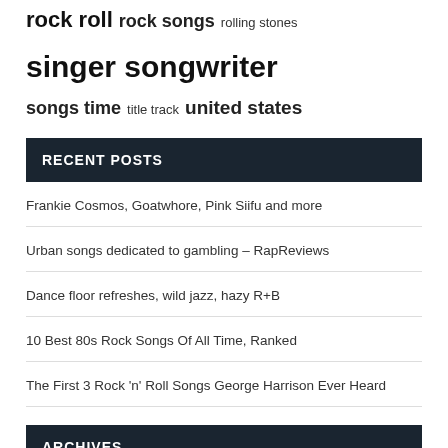rock roll  rock songs  rolling stones  singer songwriter  songs time  title track  united states
RECENT POSTS
Frankie Cosmos, Goatwhore, Pink Siifu and more
Urban songs dedicated to gambling – RapReviews
Dance floor refreshes, wild jazz, hazy R+B
10 Best 80s Rock Songs Of All Time, Ranked
The First 3 Rock 'n' Roll Songs George Harrison Ever Heard
ARCHIVES